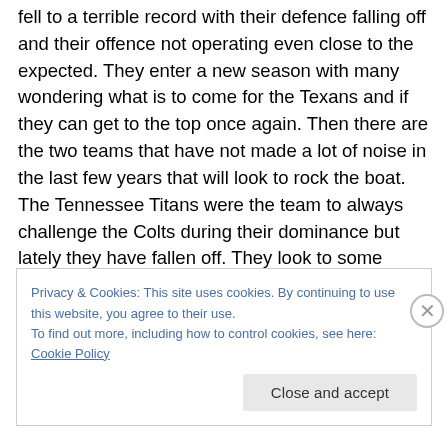fell to a terrible record with their defence falling off and their offence not operating even close to the expected. They enter a new season with many wondering what is to come for the Texans and if they can get to the top once again. Then there are the two teams that have not made a lot of noise in the last few years that will look to rock the boat. The Tennessee Titans were the team to always challenge the Colts during their dominance but lately they have fallen off. They look to some young players to help lead a resurgence and surprise everyone by bringing the Titans back. The Jacksonville Jaguars are a team
Privacy & Cookies: This site uses cookies. By continuing to use this website, you agree to their use.
To find out more, including how to control cookies, see here: Cookie Policy
Close and accept